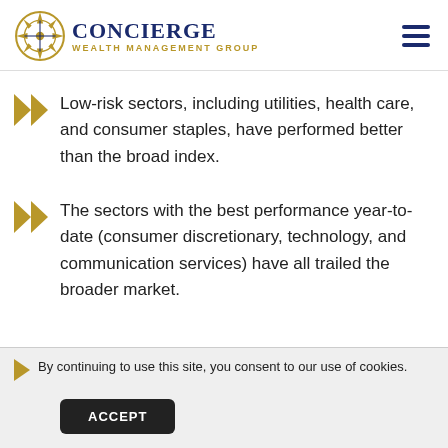Concierge Wealth Management Group
Low-risk sectors, including utilities, health care, and consumer staples, have performed better than the broad index.
The sectors with the best performance year-to-date (consumer discretionary, technology, and communication services) have all trailed the broader market.
By continuing to use this site, you consent to our use of cookies.